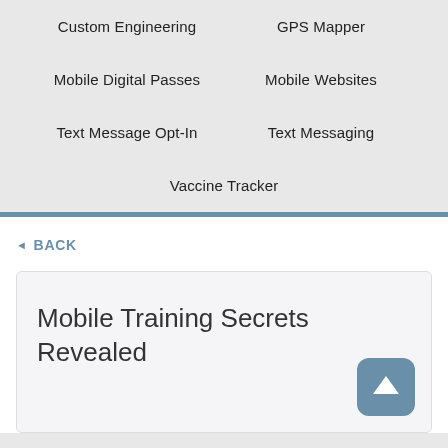Custom Engineering
GPS Mapper
Mobile Digital Passes
Mobile Websites
Text Message Opt-In
Text Messaging
Vaccine Tracker
◄ BACK
Mobile Training Secrets Revealed